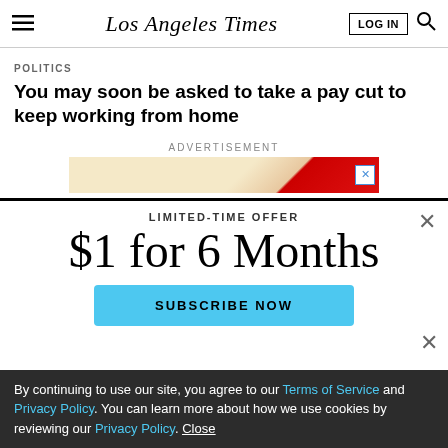Los Angeles Times
POLITICS
You may soon be asked to take a pay cut to keep working from home
ADVERTISEMENT
LIMITED-TIME OFFER
$1 for 6 Months
SUBSCRIBE NOW
By continuing to use our site, you agree to our Terms of Service and Privacy Policy. You can learn more about how we use cookies by reviewing our Privacy Policy. Close